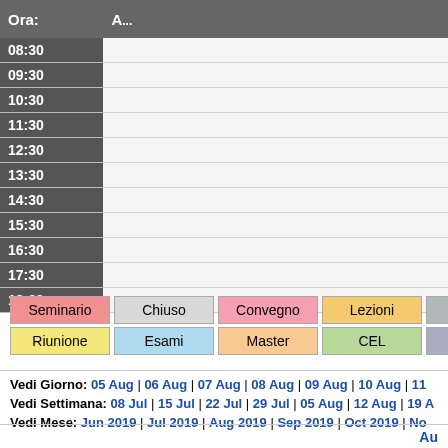| Ora: | A... |
| --- | --- |
| 08:30 |  |
| 09:30 |  |
| 10:30 |  |
| 11:30 |  |
| 12:30 |  |
| 13:30 |  |
| 14:30 |  |
| 15:30 |  |
| 16:30 |  |
| 17:30 |  |
| 18:30 |  |
[Figure (other): Legend grid with colored labels: Seminario, Chiuso, Convegno, Lezioni, Vacanza, Riunione, Esami, Master, CEL, Esterno]
Vedi Giorno: 05 Aug | 06 Aug | 07 Aug | 08 Aug | 09 Aug | 10 Aug | 11...
Vedi Settimana: 08 Jul | 15 Jul | 22 Jul | 29 Jul | 05 Aug | 12 Aug | 19 A...
Vedi Mese: Jun 2019 | Jul 2019 | Aug 2019 | Sep 2019 | Oct 2019 | No...
Au...